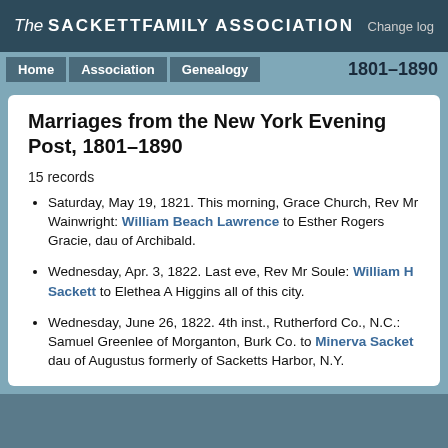The Sackett Family Association  Change log
Home  Association  Genealogy  1801–1890
Marriages from the New York Evening Post, 1801–1890
15 records
Saturday, May 19, 1821. This morning, Grace Church, Rev Mr Wainwright: William Beach Lawrence to Esther Rogers Gracie, dau of Archibald.
Wednesday, Apr. 3, 1822. Last eve, Rev Mr Soule: William H Sackett to Elethea A Higgins all of this city.
Wednesday, June 26, 1822. 4th inst., Rutherford Co., N.C.: Samuel Greenlee of Morganton, Burk Co. to Minerva Sacket dau of Augustus formerly of Sacketts Harbor, N.Y.